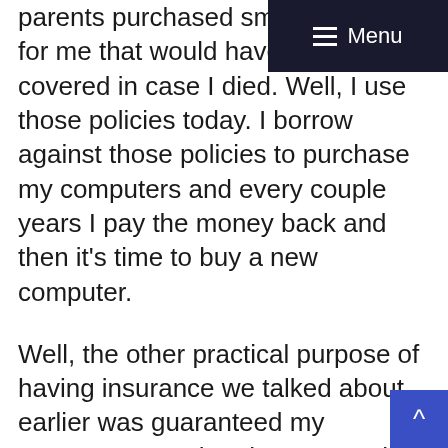parents purchased small policies for me that would have the funeral covered in case I died. Well, I use those policies today. I borrow against those policies to purchase my computers and every couple years I pay the money back and then it's time to buy a new computer.
Well, the other practical purpose of having insurance we talked about earlier was guaranteed my youngest son when he was 18, had a stroke he's uninsurable, but he has a large policy with options that he can purchase additional insurance in the future. So he